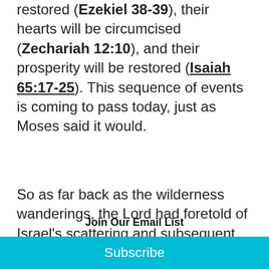restored (Ezekiel 38-39), their hearts will be circumcised (Zechariah 12:10), and their prosperity will be restored (Isaiah 65:17-25). This sequence of events is coming to pass today, just as Moses said it would.
So as far back as the wilderness wanderings, the Lord had foretold of Israel's scattering and subsequent ▼
Join Our Email List
Your email address
Subscribe